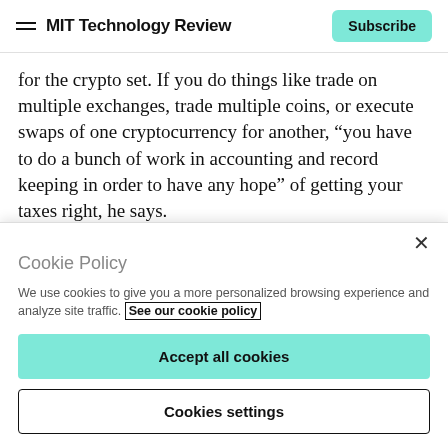MIT Technology Review | Subscribe
for the crypto set. If you do things like trade on multiple exchanges, trade multiple coins, or execute swaps of one cryptocurrency for another, “you have to do a bunch of work in accounting and record keeping in order to have any hope” of getting your taxes right, he says.
Pay the Man later: Some traders have managed to avoid paying taxes on cryptocurrency-for-cryptocurrency trades
Cookie Policy
We use cookies to give you a more personalized browsing experience and analyze site traffic. See our cookie policy
Accept all cookies
Cookies settings